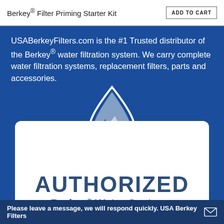Berkey® Filter Priming Starter Kit
USABerkeyFilters.com is the #1 Trusted distributor of the Berkey® water filtration system. We carry complete water filtration systems, replacement filters, parts and accessories.
[Figure (logo): Water drop logo with mountain scene inside, outline style]
[Figure (illustration): Authorized Berkey Water Systems badge — white rounded rectangle with large bold AUTHORIZED text and Berkey® Water Systems below it]
Please leave a message, we will respond quickly. USA Berkey Filters